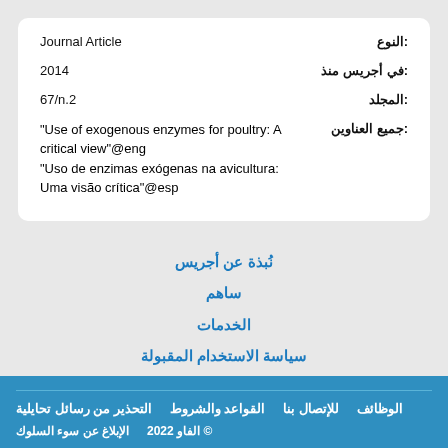| النوع: | Journal Article |
| في أجريس منذ: | 2014 |
| المجلد: | 67/n.2 |
| جميع العناوين: | "Use of exogenous enzymes for poultry: A critical view"@eng "Uso de enzimas exógenas na avicultura: Uma visão crítica"@esp |
نُبذة عن أجريس
ساهم
الخدمات
سياسة الاستخدام المقبولة
تعليق
التحذير من رسائل تحايلية | القواعد والشروط | للإتصال بنا | الوظائف | الإبلاغ عن سوء السلوك | © الفاو 2022